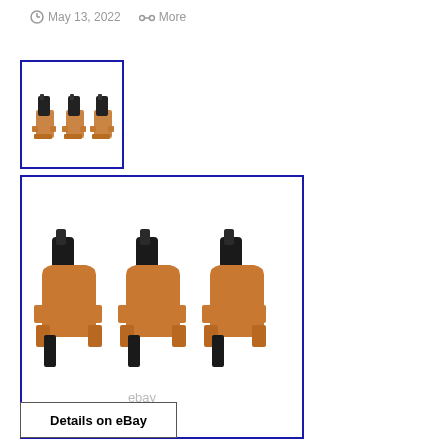May 13, 2022   More
[Figure (photo): Thumbnail image showing three tan leather gun holsters with black pistols, outlined with a blue border]
[Figure (photo): Large product image showing three tan leather OWB gun holsters with black pistols inserted, with 'ebay' watermark text, outlined with a blue border]
Details on eBay